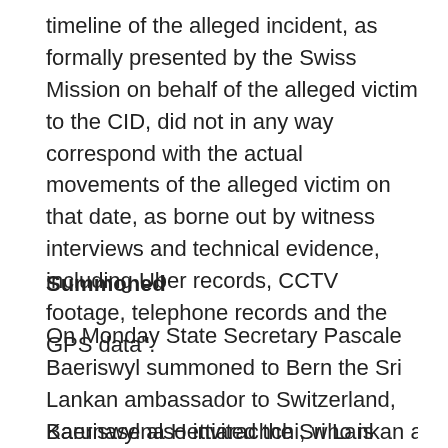timeline of the alleged incident, as formally presented by the Swiss Mission on behalf of the alleged victim to the CID, did not in any way correspond with the actual movements of the alleged victim on that date, as borne out by witness interviews and technical evidence, including Uber records, CCTV footage, telephone records and the GPS data".
Summoned
On Monday State Secretary Pascale Baeriswyl summoned to Bern the Sri Lankan ambassador to Switzerland, Karunasena Hettiarachchi, who is based in Berlin. Baeriswyl asked Hettiarachchi to explain the purported evidence that contradicts Switzerland's version of events.
Baeriswyl also invited the Sri Lankan ambassador